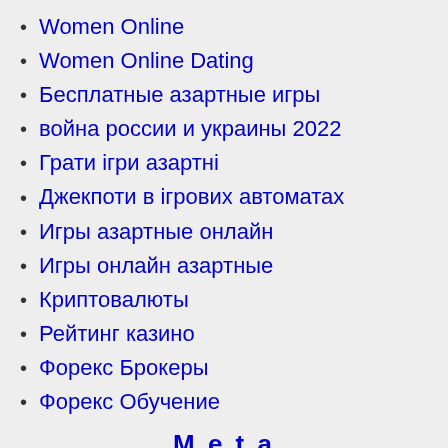Women Online
Women Online Dating
Бесплатные азартные игры
война россии и украины 2022
Грати ігри азартні
Джекпоти в ігрових автоматах
Игры азартные онлайн
Игры онлайн азартные
Криптовалюты
Рейтинг казино
Форекс Брокеры
Форекс Обучение
Meta
Log in
Entries feed